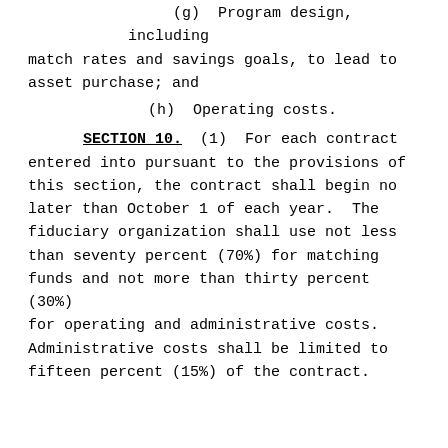(g)  Program design, including match rates and savings goals, to lead to asset purchase; and
(h)  Operating costs.
SECTION 10.  (1)  For each contract entered into pursuant to the provisions of this section, the contract shall begin no later than October 1 of each year.  The fiduciary organization shall use not less than seventy percent (70%) for matching funds and not more than thirty percent (30%) for operating and administrative costs. Administrative costs shall be limited to fifteen percent (15%) of the contract.